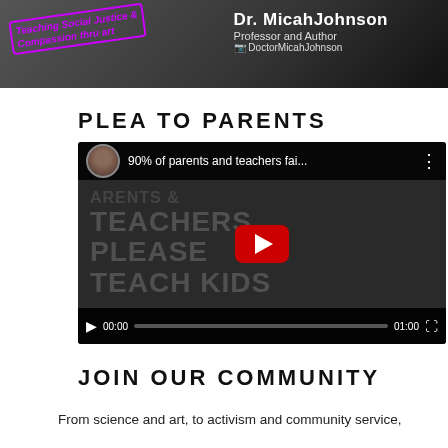[Figure (photo): Banner image showing Dr. Micah Johnson, Professor and Author, with Instagram handle DoctorMicahJohnson, and stylized text 'Teaching Social Justice & Compassion thru art']
PLEA TO PARENTS
[Figure (screenshot): Embedded YouTube video player showing '90% of parents and teachers fai...' with overlay text PARENTS & TEACHERS PLEASE TEACH KIDS, play button, progress bar showing 00:00 / 01:00]
JOIN OUR COMMUNITY
From science and art, to activism and community service,